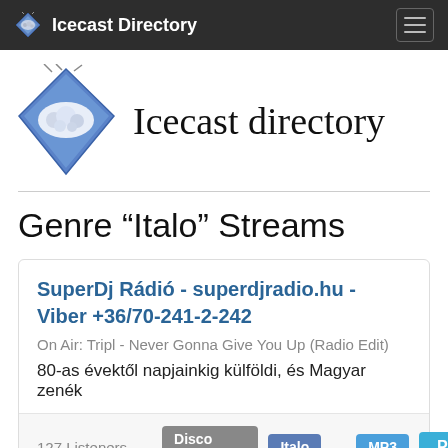Icecast Directory
Icecast directory
Genre “Italo” Streams
SuperDj Rádió - superdjradio.hu - Viber +36/70-241-2-242
On Air: Tripl - Never Gonna Give You Up (Radio Edit)
80-as évektől napjainkig külföldi, és Magyar zenék
127 Listeners — Disco Eurodance  Italo — MP3  Play